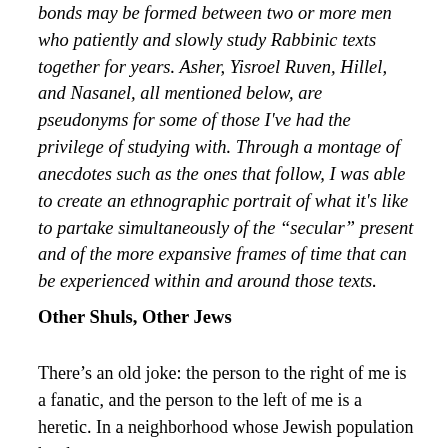bonds may be formed between two or more men who patiently and slowly study Rabbinic texts together for years. Asher, Yisroel Ruven, Hillel, and Nasanel, all mentioned below, are pseudonyms for some of those I've had the privilege of studying with. Through a montage of anecdotes such as the ones that follow, I was able to create an ethnographic portrait of what it's like to partake simultaneously of the "secular" present and of the more expansive frames of time that can be experienced within and around those texts.
Other Shuls, Other Jews
There's an old joke: the person to the right of me is a fanatic, and the person to the left of me is a heretic. In a neighborhood whose Jewish population has been